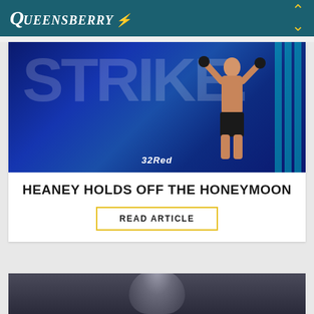QUEENSBERRY
[Figure (photo): Boxing event photo showing a fighter with arms raised in victory in front of a large screen displaying 'STRIKE' text, with '32Red' branding visible at the bottom. Arena setting with blue/purple lighting.]
HEANEY HOLDS OFF THE HONEYMOON
READ ARTICLE
[Figure (photo): Partial view of a person's face/head at the bottom of the page, appears to be a portrait photo cropped to show just the top of the head.]